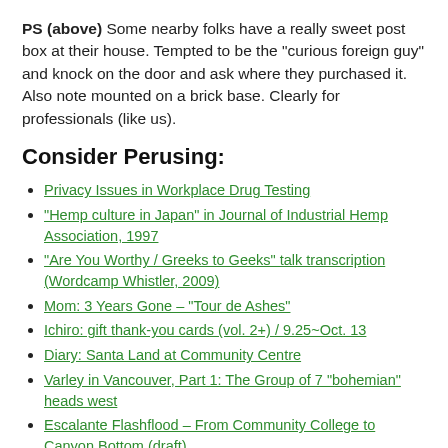PS (above) Some nearby folks have a really sweet post box at their house. Tempted to be the "curious foreign guy" and knock on the door and ask where they purchased it. Also note mounted on a brick base. Clearly for professionals (like us).
Consider Perusing:
Privacy Issues in Workplace Drug Testing
"Hemp culture in Japan" in Journal of Industrial Hemp Association, 1997
"Are You Worthy / Greeks to Geeks" talk transcription (Wordcamp Whistler, 2009)
Mom: 3 Years Gone – "Tour de Ashes"
Ichiro: gift thank-you cards (vol. 2+) / 9.25~Oct. 13
Diary: Santa Land at Community Centre
Varley in Vancouver, Part 1: The Group of 7 "bohemian" heads west
Escalante Flashflood – From Community College to Canyon Bottom (draft)